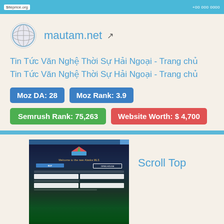[Figure (screenshot): Top banner with siteprice.org label and cyan/teal background with phone number]
[Figure (logo): Globe icon for mautam.net]
mautam.net
Tin Tức Văn Nghệ Thời Sự Hải Ngoại - Trang chủ
Tin Tức Văn Nghệ Thời Sự Hải Ngoại - Trang chủ
Moz DA: 28
Moz Rank: 3.9
Semrush Rank: 75,263
Website Worth: $ 4,700
Scroll Top
[Figure (screenshot): Screenshot of a real estate website with northern lights background, showing buy/open house tabs and price/bedrooms/bathrooms filters, siteprice.org watermark]